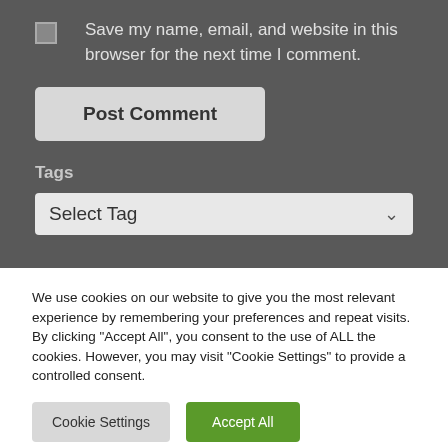Save my name, email, and website in this browser for the next time I comment.
Post Comment
Tags
Select Tag
We use cookies on our website to give you the most relevant experience by remembering your preferences and repeat visits. By clicking “Accept All”, you consent to the use of ALL the cookies. However, you may visit "Cookie Settings" to provide a controlled consent.
Cookie Settings
Accept All